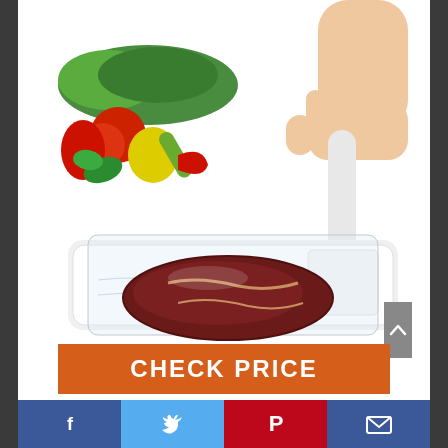[Figure (photo): Product photo showing a hand holding a vacuum sealer pump being pressed into a vacuum seal bag containing a raw steak on a white tray/board. In the upper left corner is an inset image of fresh vegetables including tomatoes, peppers, herbs, and cucumbers on a white background.]
CHECK PRICE
[Figure (infographic): Social sharing bar at the bottom with four buttons: Facebook (dark blue with 'f' icon), Twitter (light blue with bird icon), Pinterest (red with 'P' icon), Email (dark blue with envelope icon)]